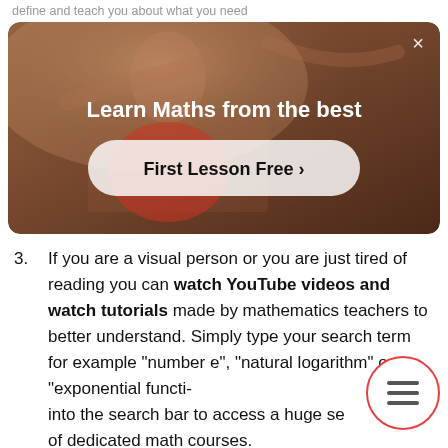define and teach you about what you need
[Figure (screenshot): Advertisement banner for 'Learn Maths from the best' with a 'First Lesson Free >' button, showing a person against a warm-toned background]
3. If you are a visual person or you are just tired of reading you can watch YouTube videos and watch tutorials made by mathematics teachers to better understand. Simply type your search term for example "number e", "natural logarithm" or "exponential functi" into the search bar to access a huge se of dedicated math courses.